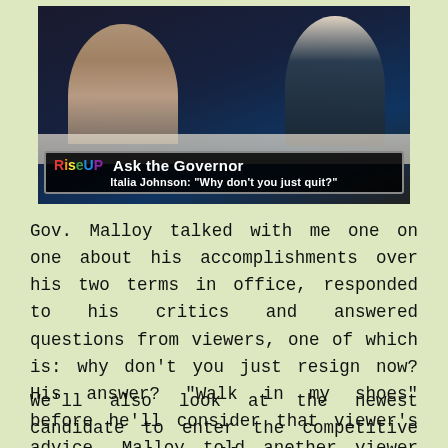[Figure (screenshot): TV screenshot showing two people seated at a table, with a lower-third graphic reading 'RiseUP Ask the Governor' and 'Italia Johnson: "Why don't you just quit?"']
Gov. Malloy talked with me one on one about his accomplishments over his two terms in office, responded to his critics and answered questions from viewers, one of which is: why don't you just resign now? His answer? "Walk in my shoes" before he'll consider that viewer's advice. Malloy told another viewer inquiring about taxes, "Wake up!"
We'll also look at the newest candidate to enter the competitive race to replace Malloy, former